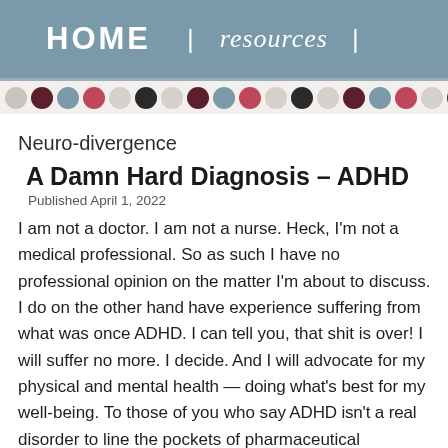HOME | resources |
Neuro-divergence
A Damn Hard Diagnosis – ADHD
Published April 1, 2022
I am not a doctor. I am not a nurse. Heck, I'm not a medical professional. So as such I have no professional opinion on the matter I'm about to discuss. I do on the other hand have experience suffering from what was once AD... you, that shit is over! I will suffer no more. I de... will advocate for my physical and mental he... best for my well-being. To those of you who s... disorder to line the pockets of pharmaceutico... to disagree. This isn't the place for you.